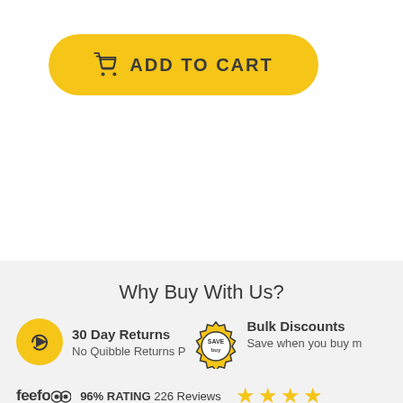[Figure (other): Yellow 'Add to Cart' button with shopping cart icon]
Why Buy With Us?
[Figure (infographic): 30 Day Returns icon - yellow circle with play/return arrow icon]
30 Day Returns
No Quibble Returns P...
[Figure (infographic): SAVE badge - circular gear/badge shape with SAVE text and buy overlay]
Bulk Discounts
Save when you buy m...
[Figure (infographic): Feefo logo with 96% RATING 226 Reviews and 4 gold stars]